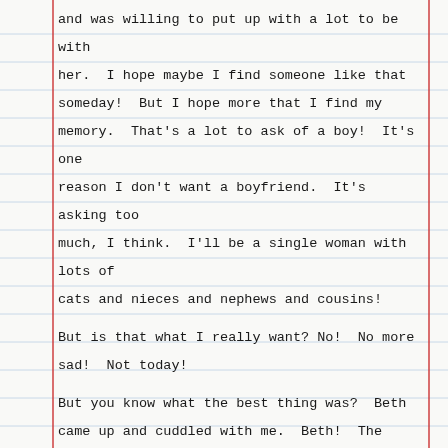and was willing to put up with a lot to be with her.  I hope maybe I find someone like that someday!  But I hope more that I find my memory.  That's a lot to ask of a boy!  It's one reason I don't want a boyfriend.  It's asking too much, I think.  I'll be a single woman with lots of cats and nieces and nephews and cousins!
But is that what I really want? No!  No more sad!  Not today!
But you know what the best thing was?  Beth came up and cuddled with me.  Beth!  The girl who hated me when Dave and Sabby first found me!  She crawled up next to me, looked into my eyes, and asked "is it like that for you?"
"Not completely, but pretty close," I replied.  She